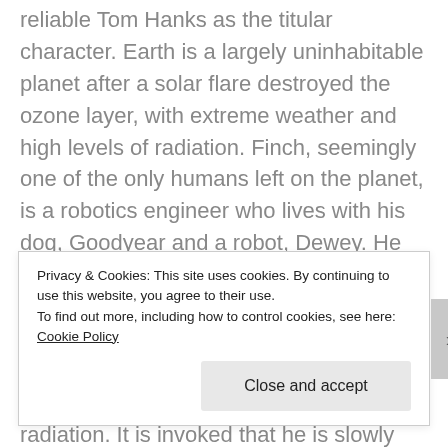reliable Tom Hanks as the titular character. Earth is a largely uninhabitable planet after a solar flare destroyed the ozone layer, with extreme weather and high levels of radiation. Finch, seemingly one of the only humans left on the planet, is a robotics engineer who lives with his dog, Goodyear and a robot, Dewey. He only ventures outside when he needs supplies.

Early on in the film, Finch is reading a book in bed on the effects of ionising radiation. It is invoked that he is slowly dying from this, although it is never explicitly confirmed, and the engineer is working on creating a
Privacy & Cookies: This site uses cookies. By continuing to use this website, you agree to their use.
To find out more, including how to control cookies, see here: Cookie Policy
Close and accept